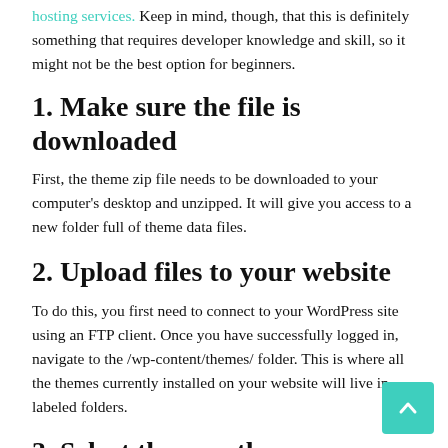hosting services. Keep in mind, though, that this is definitely something that requires developer knowledge and skill, so it might not be the best option for beginners.
1. Make sure the file is downloaded
First, the theme zip file needs to be downloaded to your computer's desktop and unzipped. It will give you access to a new folder full of theme data files.
2. Upload files to your website
To do this, you first need to connect to your WordPress site using an FTP client. Once you have successfully logged in, navigate to the /wp-content/themes/ folder. This is where all the themes currently installed on your website will live in labeled folders.
3. Select the new theme
From your desktop, select and upload your newly unzipped